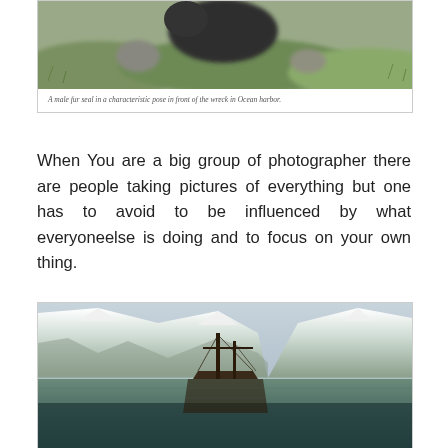[Figure (photo): A male fur seal in a characteristic pose in front of the wreck in Ocean harbor. Top portion of the photo showing the seal on grassy, rocky ground.]
A male fur seal in a characteristic pose in front of the wreck in Ocean harbor.
When You are a big group of photographer there are people taking pictures of everything but one has to avoid to be influenced by what everyoneelse is doing and to focus on your own thing.
[Figure (photo): A shipwreck photographed half above and half below the water surface, with snow-covered mountains in the background in Ocean harbor.]